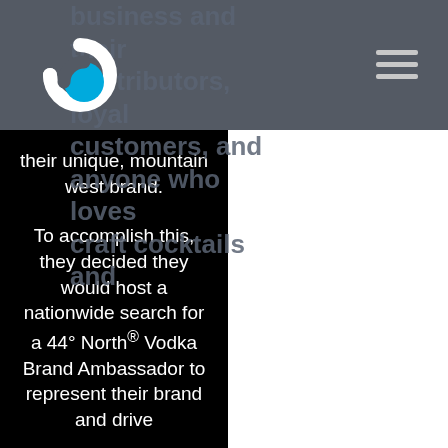[Figure (logo): Circular logo with white arc and cyan/blue circle on dark background]
business and their contributors, loyal customers, and anyone who loves craft cocktails and their unique, mountain west brand.
To accomplish this, they decided they would host a nationwide search for a 44° North® Vodka Brand Ambassador to represent their brand and drive